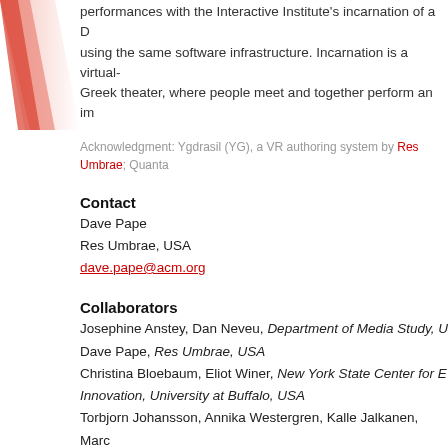[Figure (illustration): Red diagonal stripe / logo graphic on the left side of the page]
performances with the Interactive Institute's incarnation of a D... using the same software infrastructure. Incarnation is a virtual... Greek theater, where people meet and together perform an im...
Acknowledgment: Ygdrasil (YG), a VR authoring system by Res Umbrae; Quanta...
Contact
Dave Pape
Res Umbrae, USA
dave.pape@acm.org
Collaborators
Josephine Anstey, Dan Neveu, Department of Media Study, U...
Dave Pape, Res Umbrae, USA
Christina Bloebaum, Eliot Winer, New York State Center for E... Innovation, University at Buffalo, USA
Torbjorn Johansson, Annika Westergren, Kalle Jalkanen, Marc...
Sol Morn, Jonas Nimrodsson, Jim Robertsson, Jonas Westling...
Interactive Institute, Sweden
resumbrae.com/projects/paapab
www.ccr.buffalo.edu/anstey/VR/PAAPAB
www.nyscedii.buffalo.edu